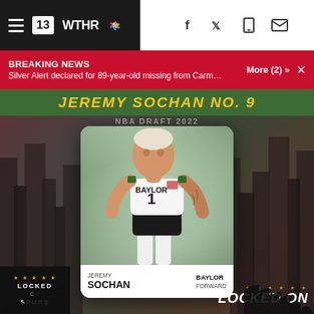13 WTHR NBC
BREAKING NEWS
Silver Alert declared for 89-year-old missing from Carmel R...
More (2) »
JEREMY SOCHAN NO. 9
[Figure (photo): NBA Draft graphic showing Jeremy Sochan wearing Baylor #1 jersey, player card style with city background. Card shows: JEREMY SOCHAN, BAYLOR, FORWARD. Bottom logos: Locked On Spurs (bottom left), Locked On (bottom right).]